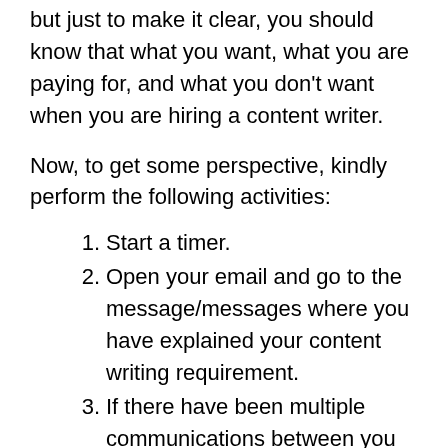but just to make it clear, you should know that what you want, what you are paying for, and what you don't want when you are hiring a content writer.
Now, to get some perspective, kindly perform the following activities:
Start a timer.
Open your email and go to the message/messages where you have explained your content writing requirement.
If there have been multiple communications between you and your content writer, go through the thread.